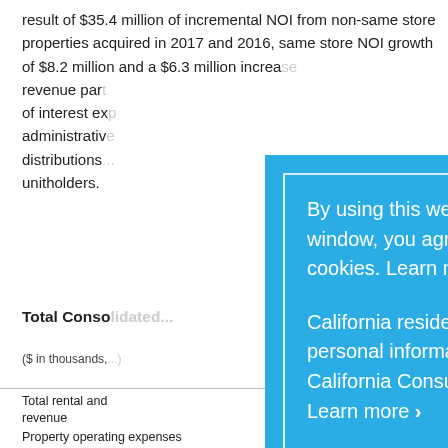result of $35.4 million of incremental NOI from non-same store properties acquired in 2017 and 2016, same store NOI growth of $8.2 million and a $6.3 million increase... revenue par... of interest ex... administrative... distributions... unitholders.
Total Consolidated...
($ in thousands,...)
|  |  | d D... | 6 |
| --- | --- | --- | --- |
| Total rental and | revenue |  | 355... |
| Property operating expenses | 30,005 | 10,70... |
[Figure (other): Cookie consent modal overlay with blue background. Text reads: 'By using this website or closing this window, you agree to our use of cookies. Learn more >.' Second paragraph: 'California residents: We collect personal information subject to the California Consumer Privacy Act. Learn more >.' Accept button at bottom.]